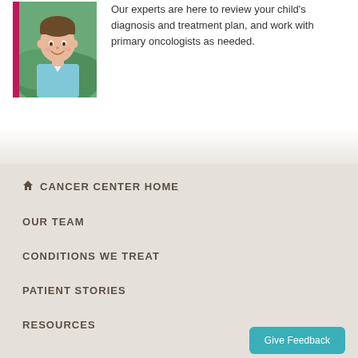[Figure (photo): Photo of a young boy smiling, wearing a light blue polo shirt, with a pink accent bar on the left side of the image, outdoors with greenery in background]
Our experts are here to review your child's diagnosis and treatment plan, and work with primary oncologists as needed.
🏠 CANCER CENTER HOME
OUR TEAM
CONDITIONS WE TREAT
PATIENT STORIES
RESOURCES
Give Feedback